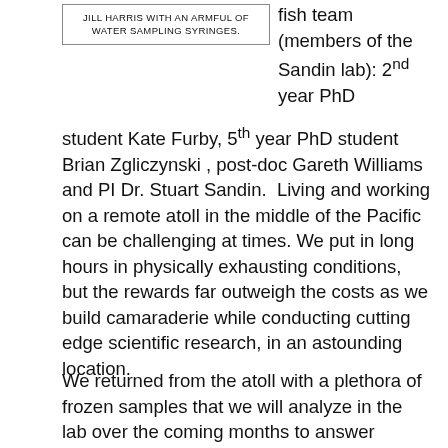JILL HARRIS WITH AN ARMFUL OF WATER SAMPLING SYRINGES.
fish team (members of the Sandin lab): 2nd year PhD student Kate Furby, 5th year PhD student Brian Zgliczynski , post-doc Gareth Williams and PI Dr. Stuart Sandin.  Living and working on a remote atoll in the middle of the Pacific can be challenging at times. We put in long hours in physically exhausting conditions, but the rewards far outweigh the costs as we build camaraderie while conducting cutting edge scientific research, in an astounding location.
We returned from the atoll with a plethora of frozen samples that we will analyze in the lab over the coming months to answer questions like how does